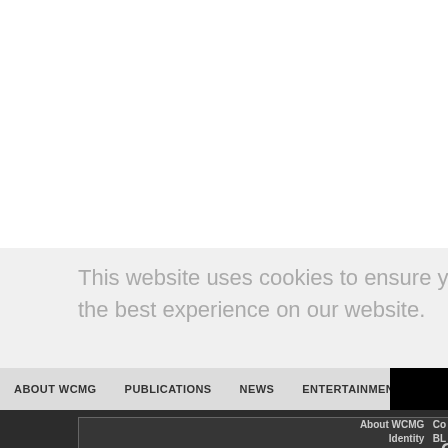[Figure (screenshot): White blank area at top of webpage]
This website uses cookies to ensure you get the best experience on our website.
ABOUT WCMG   PUBLICATIONS   NEWS   ENTERTAINMENT
Got it!
About WCMG Identity
Con BL